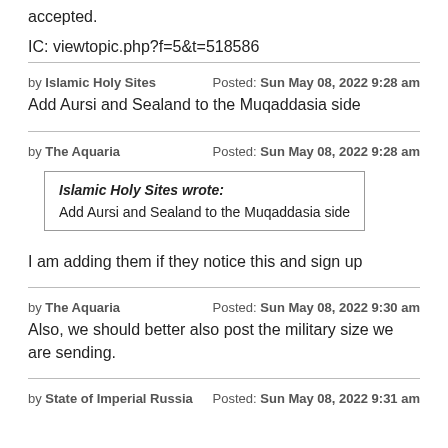accepted.
IC: viewtopic.php?f=5&t=518586
by Islamic Holy Sites   Posted: Sun May 08, 2022 9:28 am
Add Aursi and Sealand to the Muqaddasia side
by The Aquaria   Posted: Sun May 08, 2022 9:28 am
Islamic Holy Sites wrote: Add Aursi and Sealand to the Muqaddasia side
I am adding them if they notice this and sign up
by The Aquaria   Posted: Sun May 08, 2022 9:30 am
Also, we should better also post the military size we are sending.
by State of Imperial Russia   Posted: Sun May 08, 2022 9:31 am